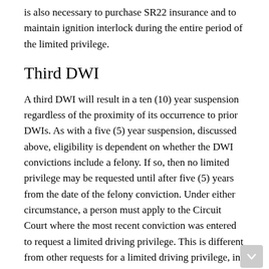is also necessary to purchase SR22 insurance and to maintain ignition interlock during the entire period of the limited privilege.
Third DWI
A third DWI will result in a ten (10) year suspension regardless of the proximity of its occurrence to prior DWIs. As with a five (5) year suspension, discussed above, eligibility is dependent on whether the DWI convictions include a felony. If so, then no limited privilege may be requested until after five (5) years from the date of the felony conviction. Under either circumstance, a person must apply to the Circuit Court where the most recent conviction was entered to request a limited driving privilege. This is different from other requests for a limited driving privilege, in that, it requires a formal court petition and order of a Judge. In order to receive such court ordered limited privilege, it